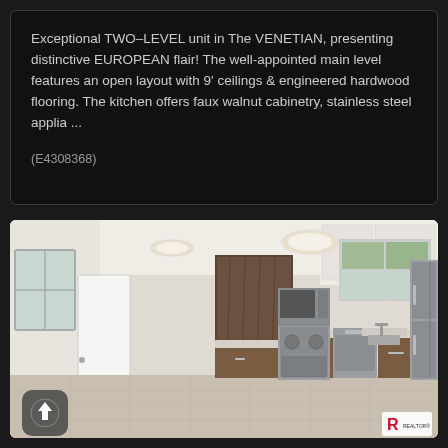Exceptional TWO–LEVEL unit in The VENETIAN, presenting distinctive EUROPEAN flair! The well-appointed main level features an open layout with 9' ceilings & engineered hardwood flooring. The kitchen offers faux walnut cabinetry, stainless steel applia ...
(E4308368)
[Figure (photo): Interior kitchen photo showing an open-plan kitchen with stainless steel appliances (range, microwave, dishwasher, refrigerator), faux walnut cabinetry, light tile flooring, white walls, and a window above the sink. A circular flush-mount ceiling light is visible. Upload arrow icon in bottom-left and REALTOR logo in bottom-right.]